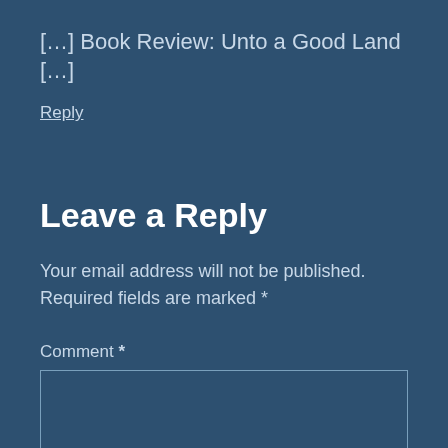[…] Book Review: Unto a Good Land […]
Reply
Leave a Reply
Your email address will not be published. Required fields are marked *
Comment *